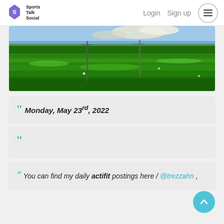Sports Talk Social — Login  Sign up
[Figure (photo): Wide landscape photo of a lush green grass field with utility poles and a distant treeline under a partly cloudy sky]
" Monday, May 23rd, 2022
"
" You can find my daily actifit postings here / @trezzahn ,